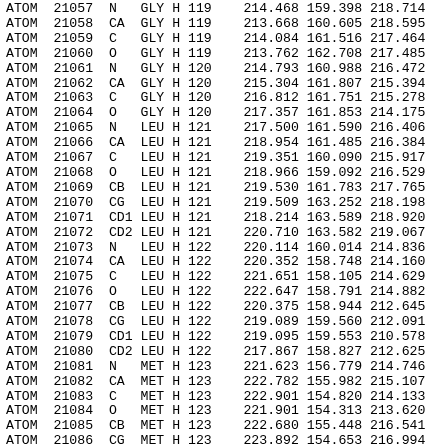| Record | Serial | Atom | Res | Chain | SeqNum | X | Y | Z |
| --- | --- | --- | --- | --- | --- | --- | --- | --- |
| ATOM | 21057 | N | GLY | H | 119 | 214.468 | 159.398 | 218.714 |
| ATOM | 21058 | CA | GLY | H | 119 | 213.668 | 160.605 | 218.595 |
| ATOM | 21059 | C | GLY | H | 119 | 214.084 | 161.516 | 217.464 |
| ATOM | 21060 | O | GLY | H | 119 | 213.762 | 162.708 | 217.485 |
| ATOM | 21061 | N | GLY | H | 120 | 214.793 | 160.988 | 216.472 |
| ATOM | 21062 | CA | GLY | H | 120 | 215.304 | 161.807 | 215.394 |
| ATOM | 21063 | C | GLY | H | 120 | 216.812 | 161.751 | 215.278 |
| ATOM | 21064 | O | GLY | H | 120 | 217.357 | 161.853 | 214.175 |
| ATOM | 21065 | N | LEU | H | 121 | 217.500 | 161.590 | 216.406 |
| ATOM | 21066 | CA | LEU | H | 121 | 218.954 | 161.485 | 216.384 |
| ATOM | 21067 | C | LEU | H | 121 | 219.351 | 160.090 | 215.917 |
| ATOM | 21068 | O | LEU | H | 121 | 218.966 | 159.092 | 216.529 |
| ATOM | 21069 | CB | LEU | H | 121 | 219.530 | 161.783 | 217.765 |
| ATOM | 21070 | CG | LEU | H | 121 | 219.509 | 163.252 | 218.198 |
| ATOM | 21071 | CD1 | LEU | H | 121 | 218.214 | 163.589 | 218.920 |
| ATOM | 21072 | CD2 | LEU | H | 121 | 220.710 | 163.582 | 219.067 |
| ATOM | 21073 | N | LEU | H | 122 | 220.114 | 160.014 | 214.836 |
| ATOM | 21074 | CA | LEU | H | 122 | 220.352 | 158.748 | 214.160 |
| ATOM | 21075 | C | LEU | H | 122 | 221.651 | 158.105 | 214.629 |
| ATOM | 21076 | O | LEU | H | 122 | 222.647 | 158.791 | 214.882 |
| ATOM | 21077 | CB | LEU | H | 122 | 220.375 | 158.944 | 212.645 |
| ATOM | 21078 | CG | LEU | H | 122 | 219.089 | 159.560 | 212.091 |
| ATOM | 21079 | CD1 | LEU | H | 122 | 219.095 | 159.553 | 210.578 |
| ATOM | 21080 | CD2 | LEU | H | 122 | 217.867 | 158.827 | 212.625 |
| ATOM | 21081 | N | MET | H | 123 | 221.623 | 156.779 | 214.746 |
| ATOM | 21082 | CA | MET | H | 123 | 222.782 | 155.982 | 215.107 |
| ATOM | 21083 | C | MET | H | 123 | 222.901 | 154.820 | 214.133 |
| ATOM | 21084 | O | MET | H | 123 | 221.901 | 154.313 | 213.620 |
| ATOM | 21085 | CB | MET | H | 123 | 222.680 | 155.448 | 216.541 |
| ATOM | 21086 | CG | MET | H | 123 | 223.892 | 154.653 | 216.994 |